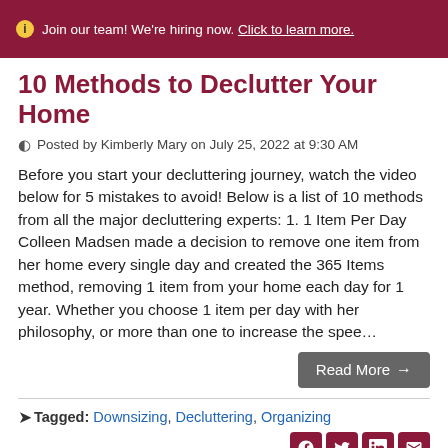ℹ Join our team! We're hiring now. Click to learn more.
10 Methods to Declutter Your Home
Posted by Kimberly Mary on July 25, 2022 at 9:30 AM
Before you start your decluttering journey, watch the video below for 5 mistakes to avoid! Below is a list of 10 methods from all the major decluttering experts: 1. 1 Item Per Day Colleen Madsen made a decision to remove one item from her home every single day and created the 365 Items method, removing 1 item from your home each day for 1 year. Whether you choose 1 item per day with her philosophy, or more than one to increase the spee…
Read More →
Tagged: Downsizing, Decluttering, Organizing